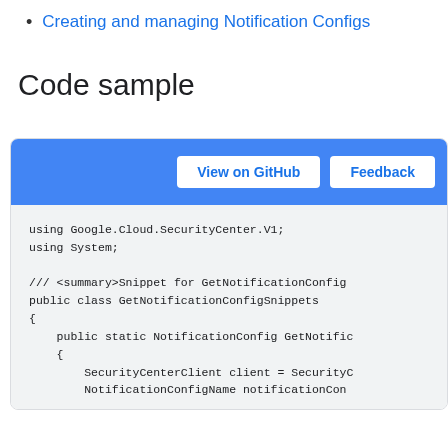Creating and managing Notification Configs
Code sample
[Figure (screenshot): Code sample box with blue toolbar containing 'View on GitHub' and 'Feedback' buttons, and a code area showing C# code for GetNotificationConfigSnippets]